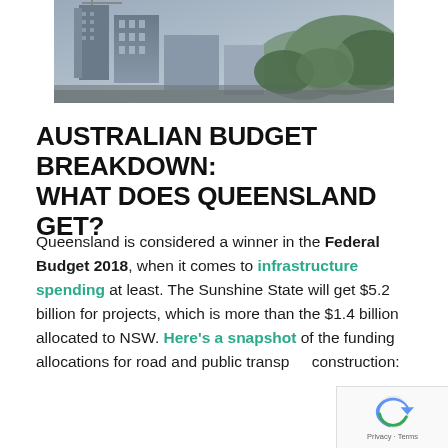[Figure (photo): Aerial view of an urban construction site with multi-storey buildings under construction and surrounding city suburb with trees]
AUSTRALIAN BUDGET BREAKDOWN: WHAT DOES QUEENSLAND GET?
Queensland is considered a winner in the Federal Budget 2018, when it comes to infrastructure spending at least. The Sunshine State will get $5.2 billion for projects, which is more than the $1.4 billion allocated to NSW. Here's a snapshot of the funding allocations for road and public transport construction: